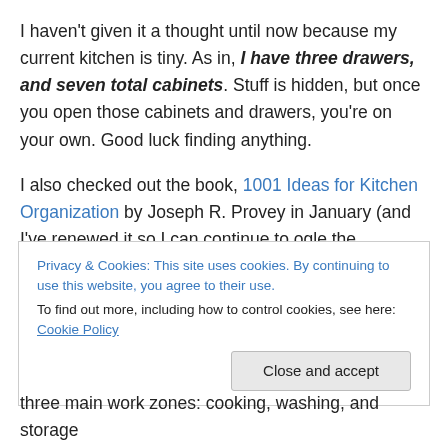I haven't given it a thought until now because my current kitchen is tiny.  As in, I have three drawers, and seven total cabinets.  Stuff is hidden, but once you open those cabinets and drawers, you're on your own.  Good luck finding anything.
I also checked out the book, 1001 Ideas for Kitchen Organization by Joseph R. Provey in January (and I've renewed it so I can continue to ogle the pictures).  It also has many ideas for storage, even if you are just re-organizing and not building new, and has lots of how-tos
Privacy & Cookies: This site uses cookies. By continuing to use this website, you agree to their use.
To find out more, including how to control cookies, see here: Cookie Policy
three main work zones: cooking, washing, and storage